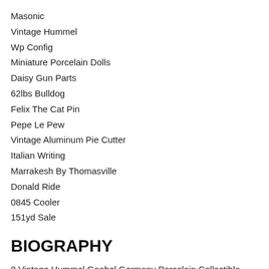Masonic
Vintage Hummel
Wp Config
Miniature Porcelain Dolls
Daisy Gun Parts
62lbs Bulldog
Felix The Cat Pin
Pepe Le Pew
Vintage Aluminum Pie Cutter
Italian Writing
Marrakesh By Thomasville
Donald Ride
0845 Cooler
151yd Sale
BIOGRAPHY
8 Vintage Hummel Goebel Germany Porcelain Collectible Figurines Statues Vtg Set - Hard to Find Collectibles - Featured Collectibles Change Daily.We showcase a comprehensive variety of items in stock and ready to ship on the web. Shop our selection of Alkan Concerto Solo Piano now!